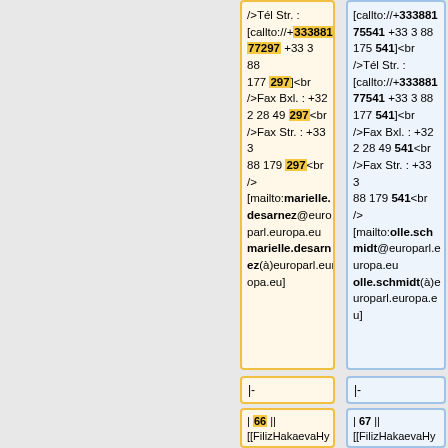/>Tél Str. : [callto://+33388177297 +33 3 88 177 297]<br />Fax Bxl. : +32 2 28 49 297<br />Fax Str. : +33 3 88 179 297<br /> [mailto:marielle.desarnez@europarl.europa.eu marielle.desarnez(à)europarl.europa.eu]
[callto://+33388175541 +33 3 88 175 541]<br />Tél Str. : [callto://+33388177541 +33 3 88 177 541]<br />Fax Bxl. : +32 2 28 49 541<br />Fax Str. : +33 3 88 179 541<br /> [mailto:olle.schmidt@europarl.europa.eu olle.schmidt(à)europarl.europa.eu]
|-
|-
| 66 || [[FilizHakaevaHyusmenova/fr|Filiz Hakaeva HYUSMENOVA]]
| 67 || [[FilizHakaevaHyusmenova/fr|Filiz Hakaeva HYUSMENOVA]]